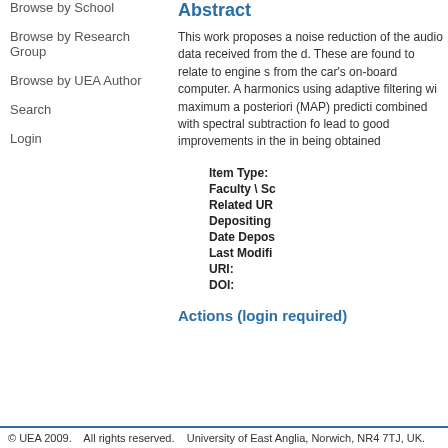Browse by School
Browse by Research Group
Browse by UEA Author
Search
Login
Abstract
This work proposes a noise reduction of the audio data received from the d. These are found to relate to engine s from the car's on-board computer. A harmonics using adaptive filtering wi maximum a posteriori (MAP) predicti combined with spectral subtraction fo lead to good improvements in the in being obtained
| Label | Value |
| --- | --- |
| Item Type: |  |
| Faculty \ Sc |  |
| Related UR |  |
| Depositing |  |
| Date Depos |  |
| Last Modifi |  |
| URI: |  |
| DOI: |  |
Actions (login required)
© UEA 2009.    All rights reserved.    University of East Anglia, Norwich, NR4 7TJ, UK.